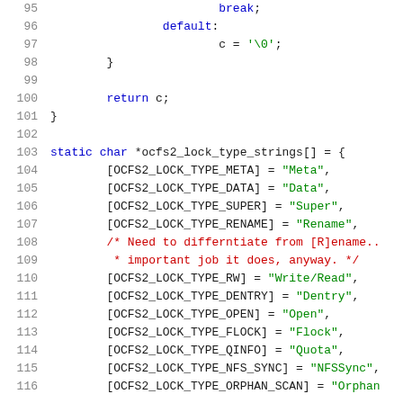Source code fragment showing C code with line numbers 95-116, including a switch statement default case, return statement, and static array initialization for ocfs2_lock_type_strings.